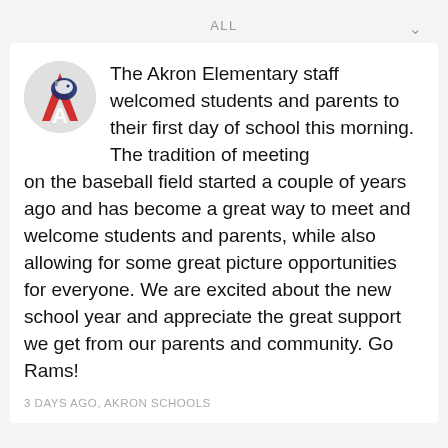ALL
[Figure (logo): Akron Schools ram mascot logo — circular badge with red letter A and ram mascot graphic]
The Akron Elementary staff welcomed students and parents to their first day of school this morning. The tradition of meeting on the baseball field started a couple of years ago and has become a great way to meet and welcome students and parents, while also allowing for some great picture opportunities for everyone. We are excited about the new school year and appreciate the great support we get from our parents and community. Go Rams!
3 DAYS AGO, AKRON SCHOOLS